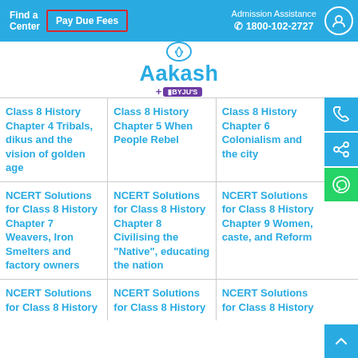Find a Center | Pay Due Fees | Admission Assistance 1800-102-2727
[Figure (logo): Aakash + BYJU'S logo with circular emblem]
Class 8 History Chapter 4 Tribals, dikus and the vision of golden age
Class 8 History Chapter 5 When People Rebel
Class 8 History Chapter 6 Colonialism and the city
NCERT Solutions for Class 8 History Chapter 7 Weavers, Iron Smelters and factory owners
NCERT Solutions for Class 8 History Chapter 8 Civilising the "Native", educating the nation
NCERT Solutions for Class 8 History Chapter 9 Women, caste, and Reform
NCERT Solutions for Class 8 History
NCERT Solutions for Class 8 History
NCERT Solutions for Class 8 History